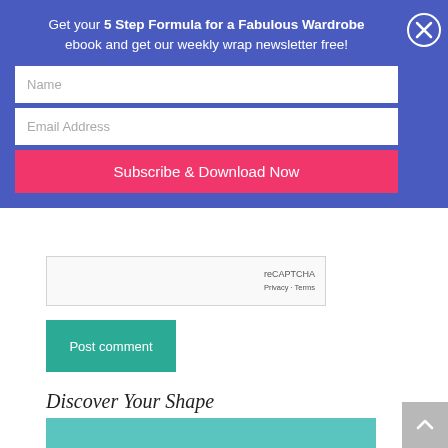Get your 5 Step Formula for a Fabulous Wardrobe ebook and get our weekly wrap newsletter free!
[Figure (screenshot): Name input field (white text box with placeholder 'Name')]
[Figure (screenshot): Email Address input field (white text box with placeholder 'Email Address')]
[Figure (screenshot): Subscribe & Download Now button (pink/red)]
[Figure (screenshot): reCAPTCHA box with 'reCAPTCHA Privacy · Terms' text]
[Figure (screenshot): Post comment button (teal/green)]
Discover Your Shape
[Figure (photo): Photo of a young woman with red glasses and red hair on a teal background, holding a red clothes hanger]